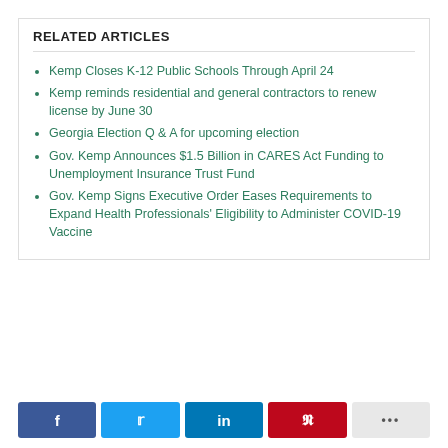RELATED ARTICLES
Kemp Closes K-12 Public Schools Through April 24
Kemp reminds residential and general contractors to renew license by June 30
Georgia Election Q & A for upcoming election
Gov. Kemp Announces $1.5 Billion in CARES Act Funding to Unemployment Insurance Trust Fund
Gov. Kemp Signs Executive Order Eases Requirements to Expand Health Professionals' Eligibility to Administer COVID-19 Vaccine